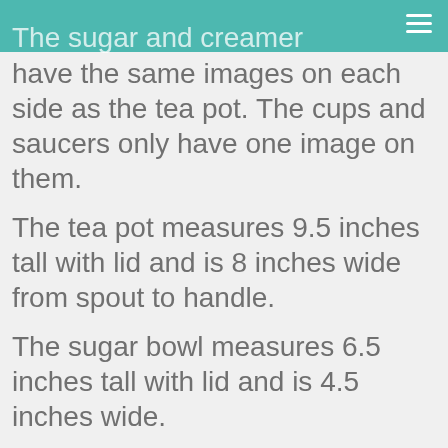The sugar and creamer
The sugar and creamer have the same images on each side as the tea pot. The cups and saucers only have one image on them.
The tea pot measures 9.5 inches tall with lid and is 8 inches wide from spout to handle.
The sugar bowl measures 6.5 inches tall with lid and is 4.5 inches wide.
The creamer measures 4.25